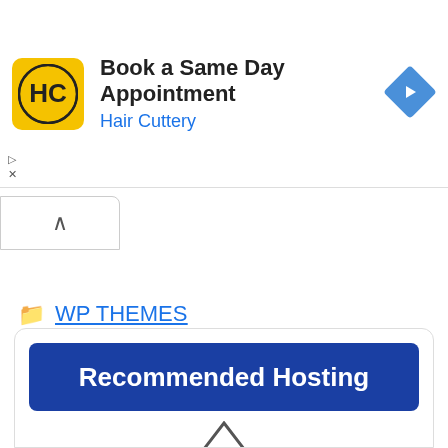[Figure (screenshot): Advertisement banner for Hair Cuttery with yellow HC logo, text 'Book a Same Day Appointment' and 'Hair Cuttery', and blue diamond navigation arrow icon on the right.]
WP THEMES
Linoor Theme Free Download
YITH Woocommerce Dynamic Pricing & Discounts v3.6.0 Free Download [GPL]
BeMusic Theme v2.5.2 Free Download [GPL]
[Figure (screenshot): Partial view of a 'Recommended Hosting' box with white background, blue border, dark blue rounded rectangle header, and a partial arrow/chevron icon below.]